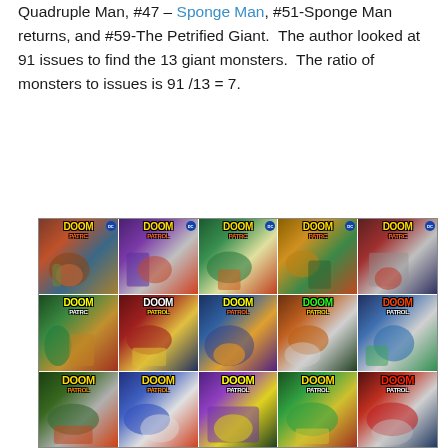Quadruple Man, #47 – Sponge Man, #51-Sponge Man returns, and #59-The Petrified Giant.  The author looked at 91 issues to find the 13 giant monsters.  The ratio of monsters to issues is 91 /13 = 7.
[Figure (photo): A 3-row by 5-column grid of Doom Patrol comic book covers, all featuring the title 'Doom Patrol' in bold lettering with various monster and superhero scenes.]